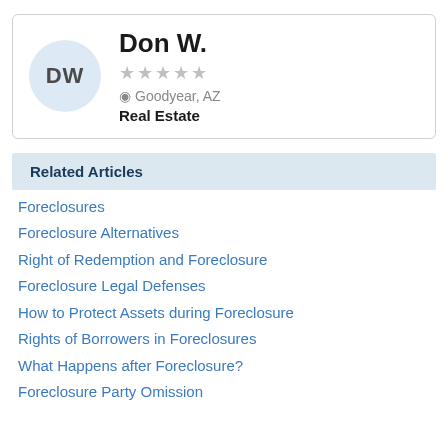[Figure (other): User profile card showing avatar circle with initials DW, name Don W., 1-star rating (5 grey stars shown), location Goodyear AZ, category Real Estate]
Related Articles
Foreclosures
Foreclosure Alternatives
Right of Redemption and Foreclosure
Foreclosure Legal Defenses
How to Protect Assets during Foreclosure
Rights of Borrowers in Foreclosures
What Happens after Foreclosure?
Foreclosure Party Omission